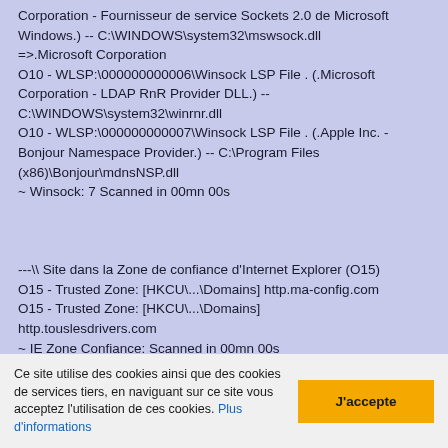Corporation - Fournisseur de service Sockets 2.0 de Microsoft Windows.) -- C:\WINDOWS\system32\mswsock.dll =>.Microsoft Corporation
O10 - WLSP:\000000000006\Winsock LSP File . (.Microsoft Corporation - LDAP RnR Provider DLL.) -- C:\WINDOWS\system32\winrnr.dll
O10 - WLSP:\000000000007\Winsock LSP File . (.Apple Inc. - Bonjour Namespace Provider.) -- C:\Program Files (x86)\Bonjour\mdnsNSP.dll
~ Winsock: 7 Scanned in 00mn 00s
---\\ Site dans la Zone de confiance d'Internet Explorer (O15)
O15 - Trusted Zone: [HKCU\...\Domains] http.ma-config.com
O15 - Trusted Zone: [HKCU\...\Domains] http.touslesdrivers.com
~ IE Zone Confiance: Scanned in 00mn 00s
Ce site utilise des cookies ainsi que des cookies de services tiers, en naviguant sur ce site vous acceptez l'utilisation de ces cookies. Plus d'informations